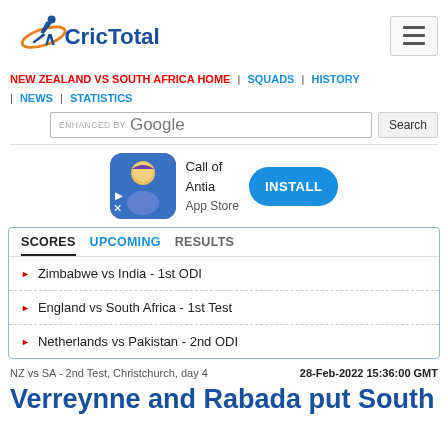CricTotal
NEW ZEALAND VS SOUTH AFRICA HOME | SQUADS | HISTORY | NEWS | STATISTICS
[Figure (screenshot): Google enhanced search bar with Search button]
[Figure (infographic): Call of Antia App Store advertisement banner with INSTALL button]
| Tab | Status |
| --- | --- |
| SCORES | active |
| UPCOMING |  |
| RESULTS |  |
Zimbabwe vs India - 1st ODI
England vs South Africa - 1st Test
Netherlands vs Pakistan - 2nd ODI
NZ vs SA - 2nd Test, Christchurch, day 4	28-Feb-2022 15:36:00 GMT
Verreynne and Rabada put South